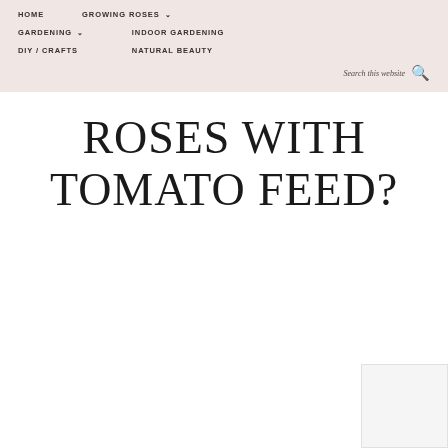HOME   GROWING ROSES ▾   GARDENING ▾   INDOOR GARDENING   DIY / CRAFTS   NATURAL BEAUTY
Search this website
ROSES WITH TOMATO FEED?